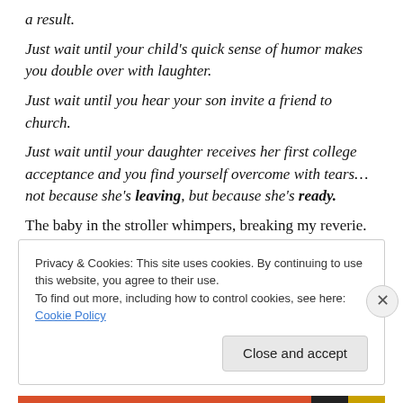a result.
Just wait until your child's quick sense of humor makes you double over with laughter.
Just wait until you hear your son invite a friend to church.
Just wait until your daughter receives her first college acceptance and you find yourself overcome with tears… not because she's leaving, but because she's ready.
The baby in the stroller whimpers, breaking my reverie.
Privacy & Cookies: This site uses cookies. By continuing to use this website, you agree to their use.
To find out more, including how to control cookies, see here: Cookie Policy
Close and accept